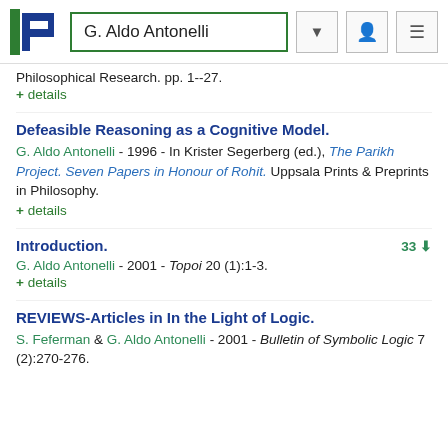G. Aldo Antonelli
Philosophical Research. pp. 1--27.
+ details
Defeasible Reasoning as a Cognitive Model.
G. Aldo Antonelli - 1996 - In Krister Segerberg (ed.), The Parikh Project. Seven Papers in Honour of Rohit. Uppsala Prints & Preprints in Philosophy.
+ details
Introduction.
33 downloads
G. Aldo Antonelli - 2001 - Topoi 20 (1):1-3.
+ details
REVIEWS-Articles in In the Light of Logic.
S. Feferman & G. Aldo Antonelli - 2001 - Bulletin of Symbolic Logic 7 (2):270-276.